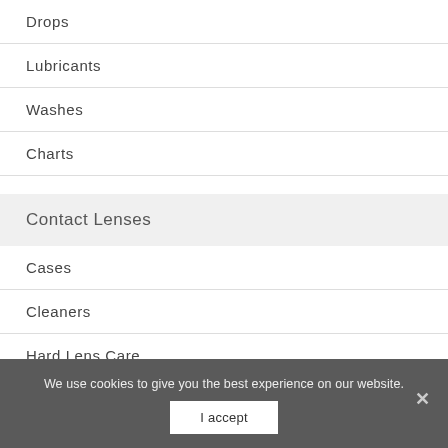Drops
Lubricants
Washes
Charts
Contact Lenses
Cases
Cleaners
Hard Lens Care
Rewetting Drops
We use cookies to give you the best experience on our website.
I accept